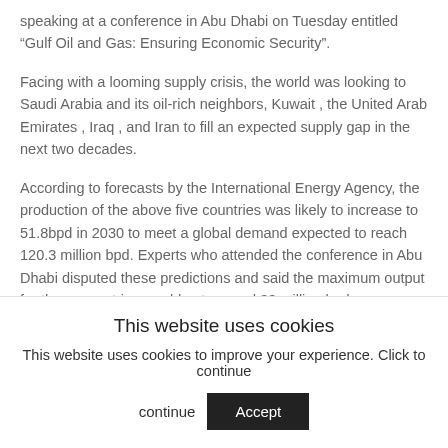speaking at a conference in Abu Dhabi on Tuesday entitled “Gulf Oil and Gas: Ensuring Economic Security”.
Facing with a looming supply crisis, the world was looking to Saudi Arabia and its oil-rich neighbors, Kuwait , the United Arab Emirates , Iraq , and Iran to fill an expected supply gap in the next two decades.
According to forecasts by the International Energy Agency, the production of the above five countries was likely to increase to 51.8bpd in 2030 to meet a global demand expected to reach 120.3 million bpd. Experts who attended the conference in Abu Dhabi disputed these predictions and said the maximum output for these countries would not exceed 38 million bpd,
This website uses cookies
This website uses cookies to improve your experience. Click to continue
Accept